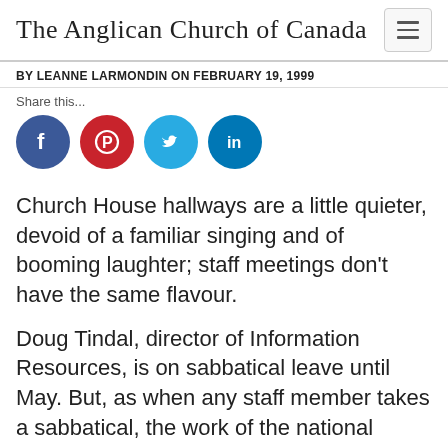The Anglican Church of Canada
BY LEANNE LARMONDIN ON FEBRUARY 19, 1999
Share this...
[Figure (infographic): Four social media share buttons: Facebook (blue circle with f), Pinterest (red circle with P logo), Twitter (light blue circle with bird), LinkedIn (teal circle with in)]
Church House hallways are a little quieter, devoid of a familiar singing and of booming laughter; staff meetings don't have the same flavour.
Doug Tindal, director of Information Resources, is on sabbatical leave until May. But, as when any staff member takes a sabbatical, the work of the national church goes on, especially with national